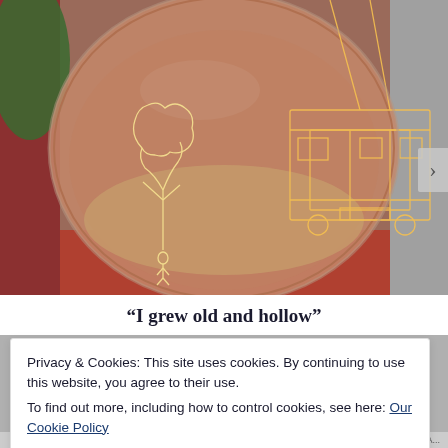[Figure (photo): A glass sphere/globe photographed close-up showing its interior with glowing wire-like light drawings: a tree figure on the left and what appears to be a building/bus structure on the right, set against a reddish-brown background with colorful red and green edges visible.]
“I grew old and hollow”
Privacy & Cookies: This site uses cookies. By continuing to use this website, you agree to their use.
To find out more, including how to control cookies, see here: Our Cookie Policy